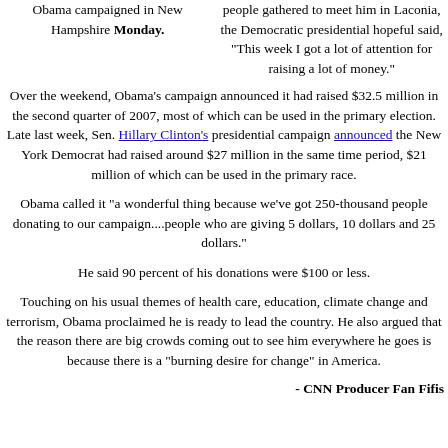Obama campaigned in New Hampshire Monday.
people gathered to meet him in Laconia, the Democratic presidential hopeful said, "This week I got a lot of attention for raising a lot of money."
Over the weekend, Obama's campaign announced it had raised $32.5 million in the second quarter of 2007, most of which can be used in the primary election. Late last week, Sen. Hillary Clinton's presidential campaign announced the New York Democrat had raised around $27 million in the same time period, $21 million of which can be used in the primary race.
Obama called it "a wonderful thing because we've got 250-thousand people donating to our campaign....people who are giving 5 dollars, 10 dollars and 25 dollars."
He said 90 percent of his donations were $100 or less.
Touching on his usual themes of health care, education, climate change and terrorism, Obama proclaimed he is ready to lead the country. He also argued that the reason there are big crowds coming out to see him everywhere he goes is because there is a "burning desire for change" in America.
- CNN Producer Fan Fifis